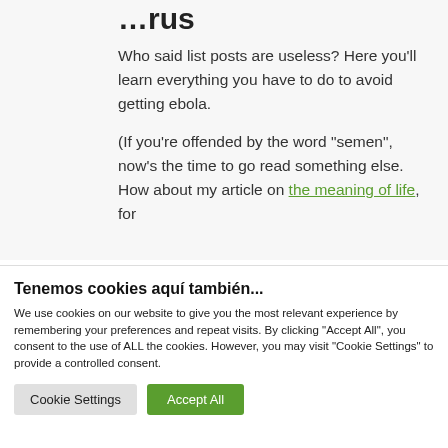…rus
Who said list posts are useless? Here you'll learn everything you have to do to avoid getting ebola.
(If you're offended by the word “semen”, now's the time to go read something else. How about my article on the meaning of life, for
Tenemos cookies aquí también...
We use cookies on our website to give you the most relevant experience by remembering your preferences and repeat visits. By clicking “Accept All”, you consent to the use of ALL the cookies. However, you may visit "Cookie Settings" to provide a controlled consent.
Cookie Settings | Accept All